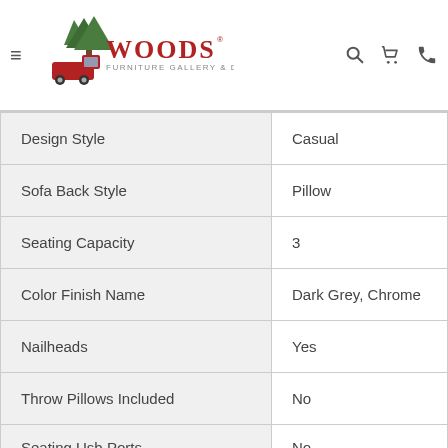Woods Furniture Gallery & Design
| Attribute | Value |
| --- | --- |
| Design Style | Casual |
| Sofa Back Style | Pillow |
| Seating Capacity | 3 |
| Color Finish Name | Dark Grey, Chrome |
| Nailheads | Yes |
| Throw Pillows Included | No |
| Seating Usb Ports | No |